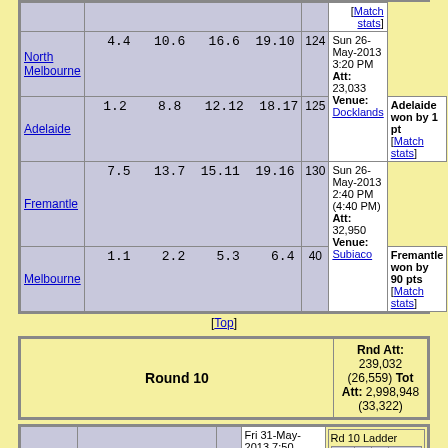| Team | Scores | Total | Info |
| --- | --- | --- | --- |
| North Melbourne | 4.4  10.6  16.6  19.10 | 124 | Sun 26-May-2013 3:20 PM Att: 23,033 Venue: Docklands |
| Adelaide | 1.2  8.8  12.12  18.17 | 125 | Adelaide won by 1 pt [Match stats] |
| Fremantle | 7.5  13.7  15.11  19.16 | 130 | Sun 26-May-2013 2:40 PM (4:40 PM) Att: 32,950 Venue: Subiaco |
| Melbourne | 1.1  2.2  5.3  6.4 | 40 | Fremantle won by 90 pts [Match stats] |
[Top]
| Round 10 | Rnd Att / Tot Att |
| --- | --- |
| Round 10 | Rnd Att: 239,032 (26,559) Tot Att: 2,998,948 (33,322) |
| Team | Scores | Total | Info | Rd 10 Ladder |
| --- | --- | --- | --- | --- |
| Adelaide |  |  | Fri 31-May-2013 7:50 | HW 10 36 148.8 |